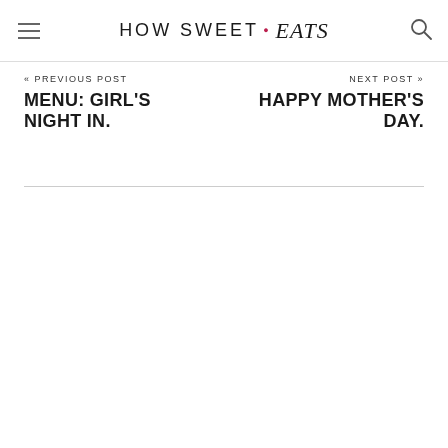HOW SWEET • eats
« PREVIOUS POST
MENU: GIRL'S NIGHT IN.
NEXT POST »
HAPPY MOTHER'S DAY.